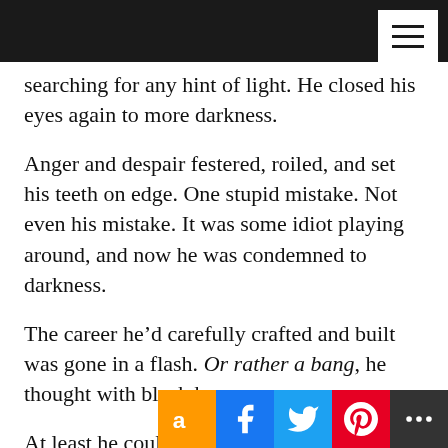searching for any hint of light. He closed his eyes again to more darkness.
Anger and despair festered, roiled, and set his teeth on edge. One stupid mistake. Not even his mistake. It was some idiot playing around, and now he was condemned to darkness.
The career he’d carefully crafted and built was gone in a flash. Or rather a bang, he thought with black humor.
At least he could escape into the sweet oblivion of sleep. As long as he closed and the other appointments, his family left him